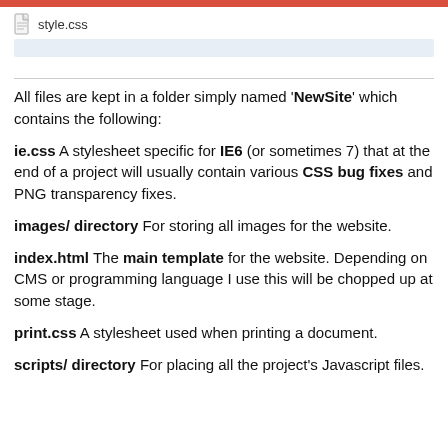[Figure (screenshot): File listing showing style.css with a file icon and a highlighted/selected row below it]
All files are kept in a folder simply named 'NewSite' which contains the following:
ie.css A stylesheet specific for IE6 (or sometimes 7) that at the end of a project will usually contain various CSS bug fixes and PNG transparency fixes.
images/ directory For storing all images for the website.
index.html The main template for the website. Depending on CMS or programming language I use this will be chopped up at some stage.
print.css A stylesheet used when printing a document.
scripts/ directory For placing all the project's Javascript files.